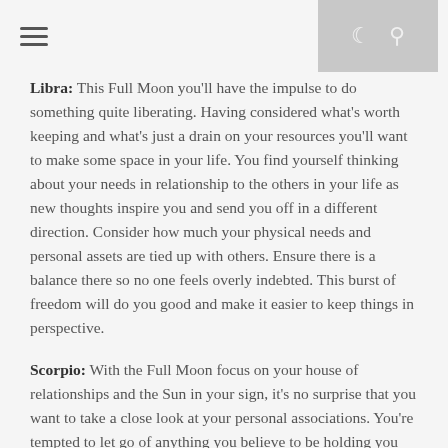☰ [hamburger menu] [moon icon] [search icon]
Libra: This Full Moon you'll have the impulse to do something quite liberating. Having considered what's worth keeping and what's just a drain on your resources you'll want to make some space in your life. You find yourself thinking about your needs in relationship to the others in your life as new thoughts inspire you and send you off in a different direction. Consider how much your physical needs and personal assets are tied up with others. Ensure there is a balance there so no one feels overly indebted. This burst of freedom will do you good and make it easier to keep things in perspective.
Scorpio: With the Full Moon focus on your house of relationships and the Sun in your sign, it's no surprise that you want to take a close look at your personal associations. You're tempted to let go of anything you believe to be holding you back or simply uninspiring. You may also be torn between neglecting individual or personal concerns in favour of a more active social life. Doubts fade into the background as a new sense of self, a more assertive personal style and a more